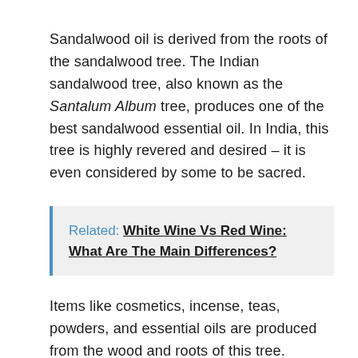Sandalwood oil is derived from the roots of the sandalwood tree. The Indian sandalwood tree, also known as the Santalum Album tree, produces one of the best sandalwood essential oil. In India, this tree is highly revered and desired – it is even considered by some to be sacred.
Related: White Wine Vs Red Wine: What Are The Main Differences?
Items like cosmetics, incense, teas, powders, and essential oils are produced from the wood and roots of this tree. Sandalwood essential oil is produced